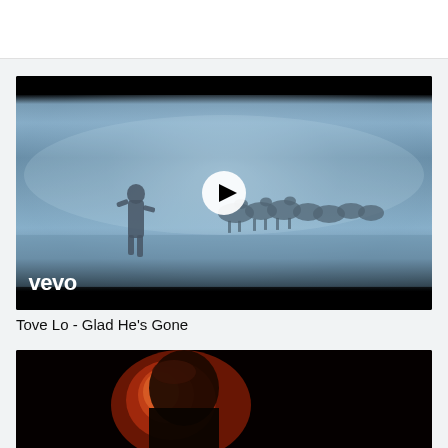[Figure (screenshot): Top white navigation bar area]
[Figure (photo): Vevo music video thumbnail for Tove Lo - Glad He's Gone. Shows a person standing in a misty field with horses running in the background. Blue-grey foggy atmosphere. Vevo logo in bottom left. White play button overlay in center.]
Tove Lo - Glad He's Gone
[Figure (photo): Partial thumbnail of a second video showing a dark scene with a person's head illuminated by warm orange/red light against a black background.]